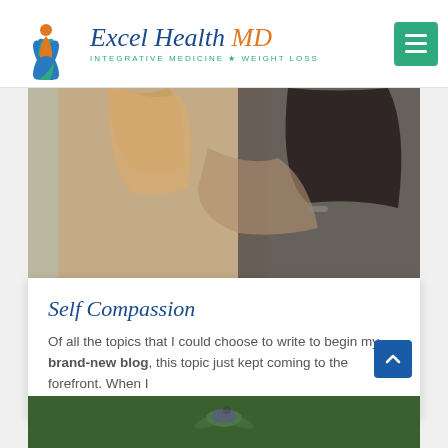[Figure (logo): Excel Health MD logo with lotus flower icon, blue and orange italic serif text, and green tagline 'INTEGRATIVE MEDICINE * WEIGHT LOSS']
[Figure (photo): Two women hugging, viewed from behind. One has blonde/light brown hair wearing a pink/mauve top, the other has dark hair wearing a black top. Outdoor background.]
Self Compassion
Of all the topics that I could choose to write to begin my brand-new blog, this topic just kept coming to the forefront. When I
[Figure (photo): Partial view of a hummingbird or similar bird against a green background, visible at bottom of page.]